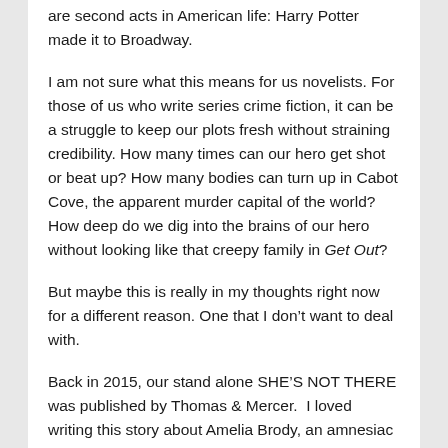are second acts in American life: Harry Potter made it to Broadway.
I am not sure what this means for us novelists. For those of us who write series crime fiction, it can be a struggle to keep our plots fresh without straining credibility. How many times can our hero get shot or beat up? How many bodies can turn up in Cabot Cove, the apparent murder capital of the world? How deep do we dig into the brains of our hero without looking like that creepy family in Get Out?
But maybe this is really in my thoughts right now for a different reason. One that I don’t want to deal with.
Back in 2015, our stand alone SHE’S NOT THERE was published by Thomas & Mercer. I loved writing this story about Amelia Brody, an amnesiac who is convinced her husband tried to kill her so she goes on the run. It is, at its thematic heart, about what happens to your soul when you try to live an inauthentic life. It is about a woman whose past is erased, so she must painfully reconstruct it